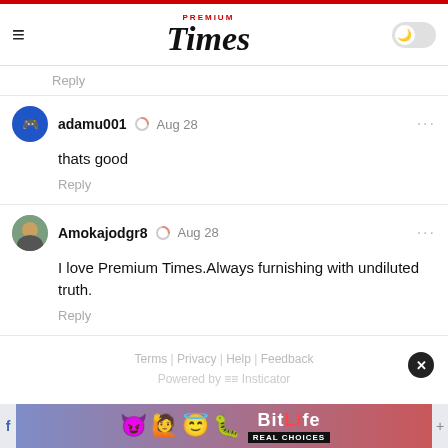Premium Times
Reply
adamu001  Aug 28
thats good
Reply
Amokajodgr8  Aug 28
I love Premium Times.Always furnishing with undiluted truth.
Reply
Terms | Privacy | Help | Feedback
Powered by Insticator
[Figure (screenshot): BitLife advertisement banner with emoji characters and 'REAL CHOICES' text]